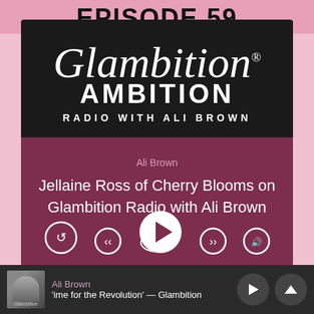EPISODE 59
[Figure (logo): Glambition Radio with Ali Brown logo — script 'Glambition' in white on black background with 'RADIO WITH ALI BROWN' below in white block letters]
Ali Brown
Jellaine Ross of Cherry Blooms on Glambition Radio with Ali Brown
[Figure (screenshot): Podcast player controls row — rewind, skip back, play (large), skip forward, and volume icons in white on dark purple background]
[Figure (screenshot): Bottom player bar: Glambition thumbnail, Ali Brown artist name, 'Time for the Revolution' — Glambition track title, play and up-chevron buttons]